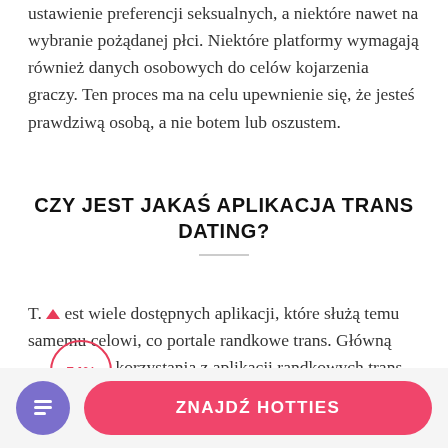ustawienie preferencji seksualnych, a niektóre nawet na wybranie pożądanej płci. Niektóre platformy wymagają również danych osobowych do celów kojarzenia graczy. Ten proces ma na celu upewnienie się, że jesteś prawdziwą osobą, a nie botem lub oszustem.
CZY JEST JAKAŚ APLIKACJA TRANS DATING?
T. est wiele dostępnych aplikacji, które służą temu samemu celowi, co portale randkowe trans. Główną . 54% korzystania z aplikacji randkowych trans jest to, że są łatwiejsze w użyciu i zapewniają lepsze wrażenia
[Figure (other): Pink call-to-action button labeled ZNAJDŹ HOTTIES with a purple circular icon button on the left showing a document/list icon]